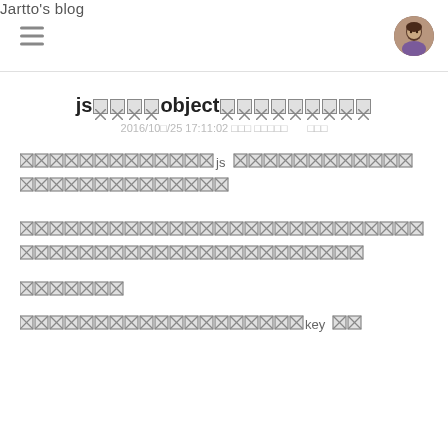Jartto's blog
js□□□□object□□□□□□□□□
2016/10□/25 17:11:02 □□□ □□□□□   □□□
□□□□□□□□□□□□js□□□□□□□□□□□□□□□□□□□□□□
□□□□□□□□□□□□□□□□□□□□□□□□□□□□□□□□□□□□□
□□□□□□□
□□□□□□□□□□□□□□□□□□key□□